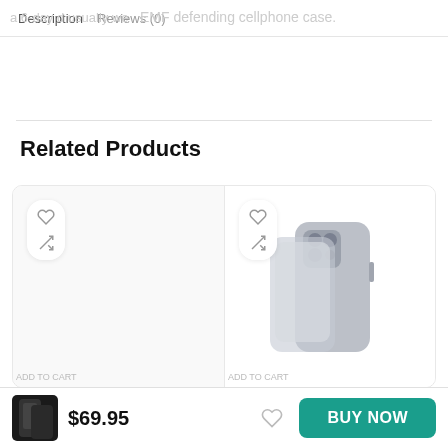Description  Reviews (0)
a 6-day d usually we... EMF defending cellphone case.
Related Products
[Figure (photo): Related product card on left — empty product with heart/compare icons]
[Figure (photo): Related product card on right — gray iPhone 12 Pro case shown from back angle, with heart/compare icons]
$69.95
BUY NOW